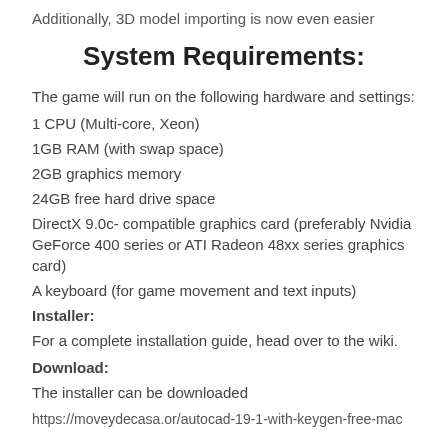Additionally, 3D model importing is now even easier
System Requirements:
The game will run on the following hardware and settings:
1 CPU (Multi-core, Xeon)
1GB RAM (with swap space)
2GB graphics memory
24GB free hard drive space
DirectX 9.0c- compatible graphics card (preferably Nvidia GeForce 400 series or ATI Radeon 48xx series graphics card)
A keyboard (for game movement and text inputs)
Installer:
For a complete installation guide, head over to the wiki.
Download:
The installer can be downloaded
https://moveydecasa.or/autocad-19-1-with-keygen-free-mac